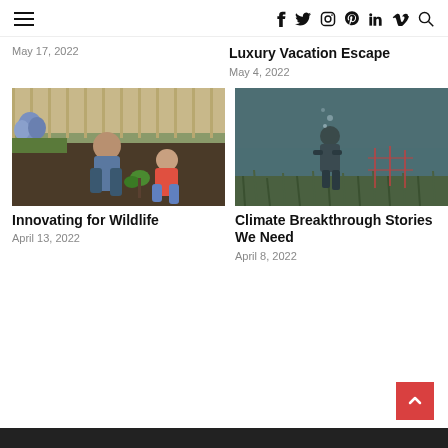≡  f  twitter  instagram  pinterest  in  vimeo  search
May 17, 2022
Luxury Vacation Escape
May 4, 2022
[Figure (photo): A woman and young girl gardening together in a backyard, planting in soil with flowers in the background]
Innovating for Wildlife
April 13, 2022
[Figure (photo): Underwater scene showing a diver near the ocean floor with seagrass and grid markers]
Climate Breakthrough Stories We Need
April 8, 2022